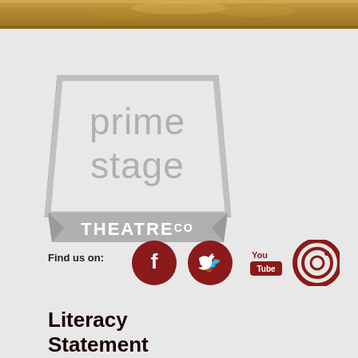[Figure (photo): Top portion of a photo showing a warm golden/brownish scene, partially visible at the top of the page]
[Figure (logo): Prime Stage Theatre Co logo in gray - trapezoid shape with 'prime stage' text and 'THEATRE CO' banner at bottom]
Find us on:
[Figure (infographic): Social media icons: Facebook, Twitter, YouTube, and Instagram in dark red/crimson circles]
Literacy Statement